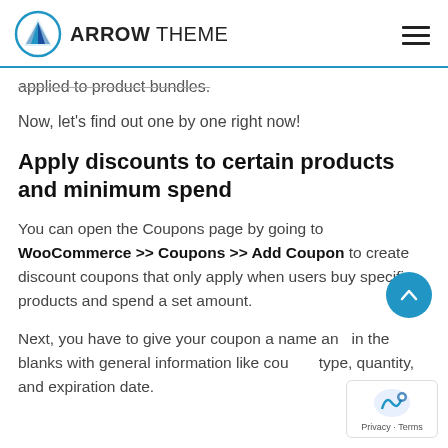ARROW THEME
applied to product bundles.
Now, let's find out one by one right now!
Apply discounts to certain products and minimum spend
You can open the Coupons page by going to WooCommerce >> Coupons >> Add Coupon to create discount coupons that only apply when users buy specific products and spend a set amount.
Next, you have to give your coupon a name and in the blanks with general information like coupon type, quantity, and expiration date.